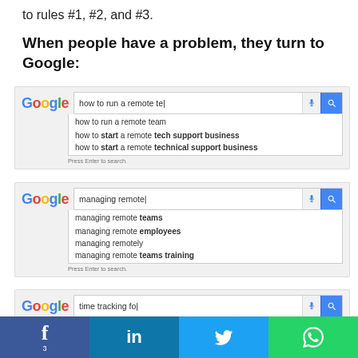to rules #1, #2, and #3.
When people have a problem, they turn to Google:
[Figure (screenshot): Google search autocomplete for 'how to run a remote te' showing suggestions: 'how to run a remote team', 'how to start a remote tech support business', 'how to start a remote technical support business']
[Figure (screenshot): Google search autocomplete for 'managing remote' showing suggestions: 'managing remote teams', 'managing remote employees', 'managing remotely', 'managing remote teams training']
[Figure (screenshot): Google search autocomplete for 'time tracking fo' showing suggestions: 'time tracking for freelancers', 'time tracking for consultants', 'time tracking for independent contractors', 'time tracking for quickbooks']
[Figure (infographic): Social sharing bar with Facebook (3), LinkedIn, Twitter, and WhatsApp icons]